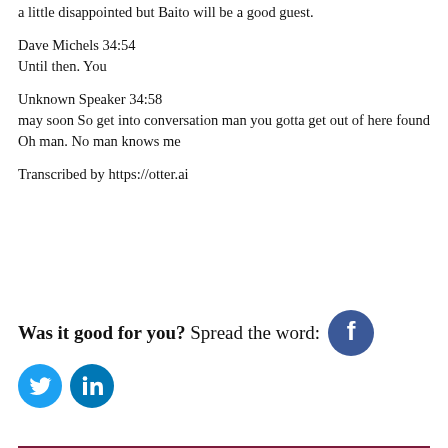a little disappointed but Baito will be a good guest.
Dave Michels 34:54
Until then. You
Unknown Speaker 34:58
may soon So get into conversation man you gotta get out of here found Oh man. No man knows me
Transcribed by https://otter.ai
Was it good for you? Spread the word:
[Figure (logo): Facebook, Twitter, and LinkedIn social share icons]